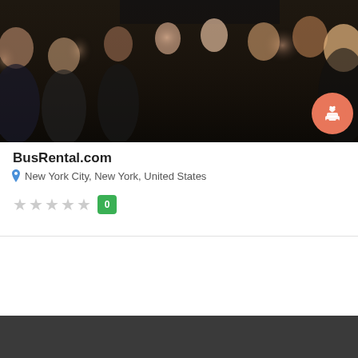[Figure (photo): Group photo of people in formal/wedding attire inside a vehicle, with a salmon-colored circular badge with a limousine/wedding car icon in the bottom right corner]
BusRental.com
New York City, New York, United States
★★★★★ 0